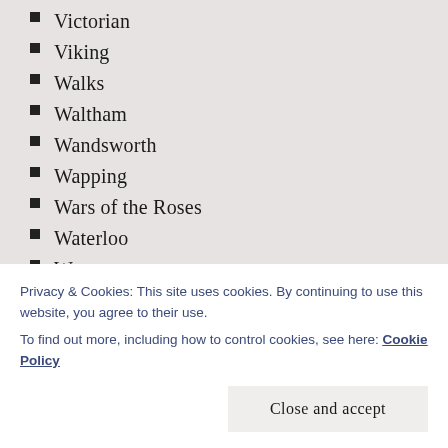Victorian
Viking
Walks
Waltham
Wandsworth
Wapping
Wars of the Roses
Waterloo
Waterways
Wembley
West End
West London
Westminster
What's in a name?
Privacy & Cookies: This site uses cookies. By continuing to use this website, you agree to their use.
To find out more, including how to control cookies, see here: Cookie Policy